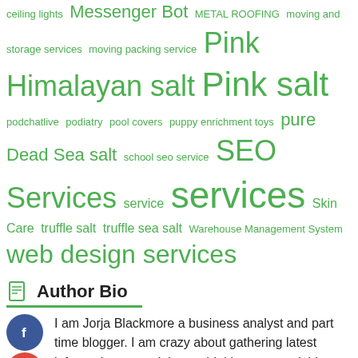ceiling lights Messenger Bot METAL ROOFING moving and storage services moving packing service Pink Himalayan salt Pink salt podchatlive podiatry pool covers puppy enrichment toys pure Dead Sea salt school seo service SEO Services service services Skin Care truffle salt truffle sea salt Warehouse Management System web design services
Author Bio
I am Jorja Blackmore a business analyst and part time blogger. I am crazy about gathering latest information around the world. I have started this blog to share my knowledge & experience.
[Figure (photo): Portrait photo of a woman with light brown hair]